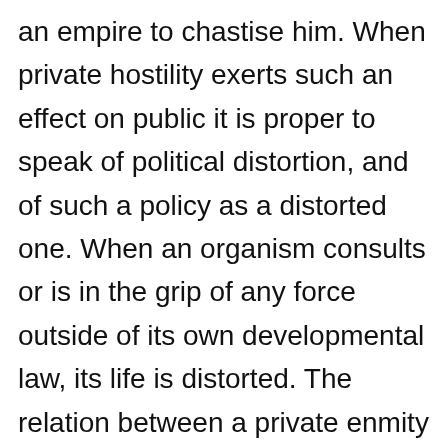an empire to chastise him. When private hostility exerts such an effect on public it is proper to speak of political distortion, and of such a policy as a distorted one. When an organism consults or is in the grip of any force outside of its own developmental law, its life is distorted. The relation between a private enmity and a public politics it is circumstanced to distort is the same as that between European petty-Statism and the Western Civilization. The collectively suicidal game of nationalistic politics distorted the whole destiny of the West after 1900 to the advantage of the extra-European forces.